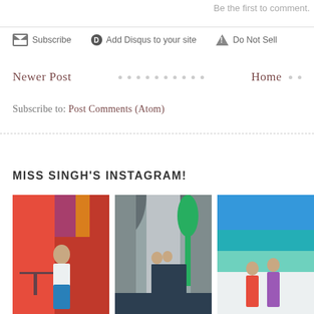Be the first to comment.
Subscribe  Add Disqus to your site  Do Not Sell
Newer Post • • • • • • • • • • Home • •
Subscribe to: Post Comments (Atom)
MISS SINGH'S INSTAGRAM!
[Figure (photo): Three Instagram photos: woman at red cafe, couple in stone archway corridor, two women at seaside overlook]
[Figure (photo): Woman sitting at outdoor cafe with red background]
[Figure (photo): Couple in traditional dress walking through stone archway corridor]
[Figure (photo): Two women at scenic overlook with blue sea in background]